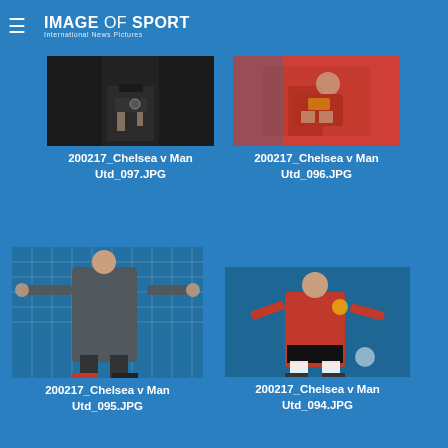IMAGE of SPORT International News Pictures
[Figure (photo): Close-up of a referee's torso and hand pointing down, wearing black uniform and watch — 200217_Chelsea v Man Utd_097.JPG]
200217_Chelsea v Man Utd_097.JPG
[Figure (photo): Close-up of a Manchester United player in red shirt checking his wristband/watch — 200217_Chelsea v Man Utd_096.JPG]
200217_Chelsea v Man Utd_096.JPG
[Figure (photo): Manchester United goalkeeper in grey kit standing arms outstretched in front of goal net — 200217_Chelsea v Man Utd_095.JPG]
200217_Chelsea v Man Utd_095.JPG
[Figure (photo): Manchester United player in red kit running with the ball on pitch — 200217_Chelsea v Man Utd_094.JPG]
200217_Chelsea v Man Utd_094.JPG